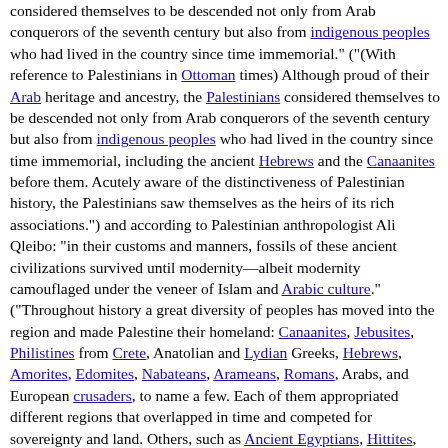considered themselves to be descended not only from Arab conquerors of the seventh century but also from indigenous peoples who had lived in the country since time immemorial." ("(With reference to Palestinians in Ottoman times) Although proud of their Arab heritage and ancestry, the Palestinians considered themselves to be descended not only from Arab conquerors of the seventh century but also from indigenous peoples who had lived in the country since time immemorial, including the ancient Hebrews and the Canaanites before them. Acutely aware of the distinctiveness of Palestinian history, the Palestinians saw themselves as the heirs of its rich associations.") and according to Palestinian anthropologist Ali Qleibo: "in their customs and manners, fossils of these ancient civilizations survived until modernity—albeit modernity camouflaged under the veneer of Islam and Arabic culture." ("Throughout history a great diversity of peoples has moved into the region and made Palestine their homeland: Canaanites, Jebusites, Philistines from Crete, Anatolian and Lydian Greeks, Hebrews, Amorites, Edomites, Nabateans, Arameans, Romans, Arabs, and European crusaders, to name a few. Each of them appropriated different regions that overlapped in time and competed for sovereignty and land. Others, such as Ancient Egyptians, Hittites, Persians, Babylonians, and Mongols, were historical 'events' whose successive occupations were